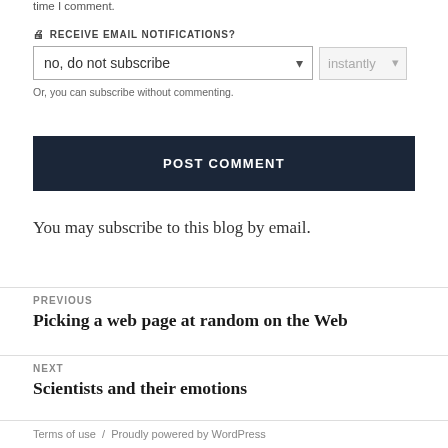time I comment.
📥 RECEIVE EMAIL NOTIFICATIONS?
no, do not subscribe / instantly
Or, you can subscribe without commenting.
POST COMMENT
You may subscribe to this blog by email.
PREVIOUS
Picking a web page at random on the Web
NEXT
Scientists and their emotions
Terms of use  /  Proudly powered by WordPress